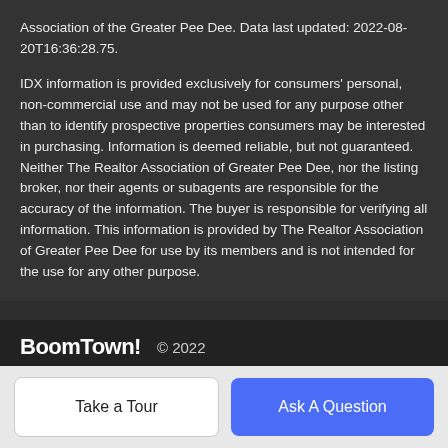Association of the Greater Pee Dee. Data last updated: 2022-08-20T16:36:28.75.
IDX information is provided exclusively for consumers' personal, non-commercial use and may not be used for any purpose other than to identify prospective properties consumers may be interested in purchasing. Information is deemed reliable, but not guaranteed. Neither The Realtor Association of Greater Pee Dee, nor the listing broker, nor their agents or subagents are responsible for the accuracy of the information. The buyer is responsible for verifying all information. This information is provided by The Realtor Association of Greater Pee Dee for use by its members and is not intended for the use for any other purpose.
BoomTown! © 2022
Terms of Use | Privacy Policy | Accessibility | DMCA | Listings Sitemap
Take a Tour
Ask A Question